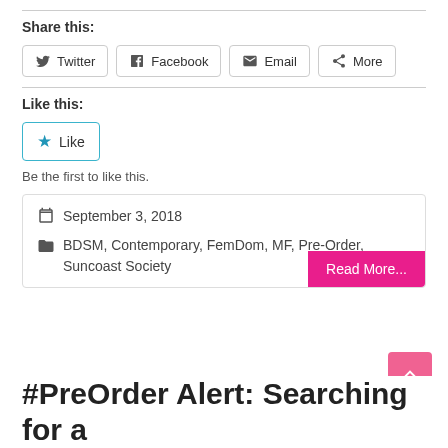Share this:
Twitter
Facebook
Email
More
Like this:
Like
Be the first to like this.
September 3, 2018
BDSM, Contemporary, FemDom, MF, Pre-Order, Suncoast Society
Read More...
#PreOrder Alert: Searching for a